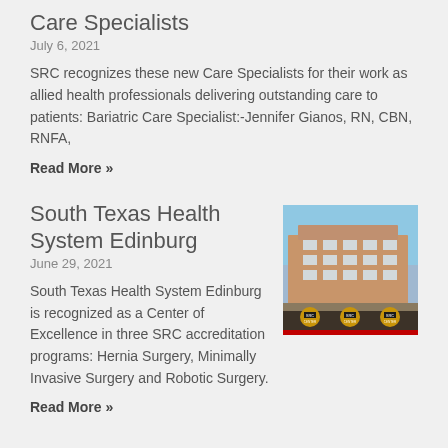Care Specialists
July 6, 2021
SRC recognizes these new Care Specialists for their work as allied health professionals delivering outstanding care to patients: Bariatric Care Specialist:-Jennifer Gianos, RN, CBN, RNFA,
Read More »
South Texas Health System Edinburg
June 29, 2021
[Figure (photo): Photo of South Texas Health System Edinburg hospital building with three SRC Center of Excellence gold medallion awards displayed below]
South Texas Health System Edinburg is recognized as a Center of Excellence in three SRC accreditation programs: Hernia Surgery, Minimally Invasive Surgery and Robotic Surgery.
Read More »